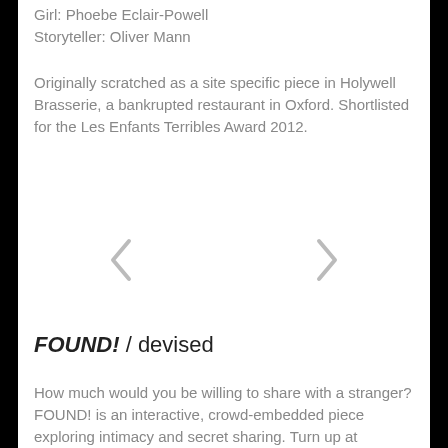Girl: Phoebe Eclair-Powell
Storyteller: Oliver Mann
Originally scratched as a site specific piece in Holywell Brasserie, a bankrupted restaurant in Oxford. Shortlisted for the Les Enfants Terribles Award 2012.
[Figure (other): Navigation arrows: left chevron and right chevron for carousel navigation]
FOUND! / devised
How much would you be willing to share with a stranger? FOUND! is an interactive, crowd-embedded piece exploring intimacy and secret sharing. Turn up at